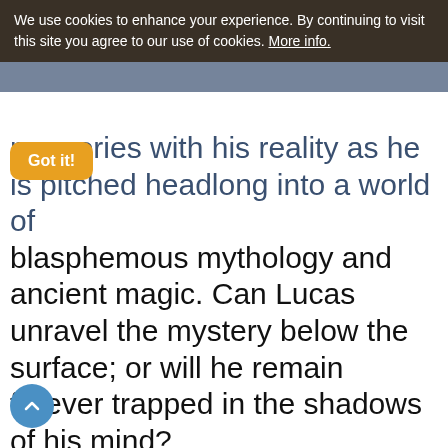We use cookies to enhance your experience. By continuing to visit this site you agree to our use of cookies. More info.
memories with his reality as he is pitched headlong into a world of blasphemous mythology and ancient magic. Can Lucas unravel the mystery below the surface; or will he remain forever trapped in the shadows of his mind?
The answer was beyond anything he could have imagined....
Publication Date: 1st May 2022 (Festival of Beltane; one of the 8 Sabbats)
On Sale Now